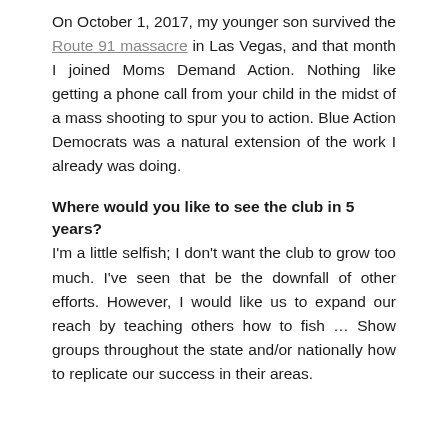On October 1, 2017, my younger son survived the Route 91 massacre in Las Vegas, and that month I joined Moms Demand Action. Nothing like getting a phone call from your child in the midst of a mass shooting to spur you to action. Blue Action Democrats was a natural extension of the work I already was doing.
Where would you like to see the club in 5 years?
I'm a little selfish; I don't want the club to grow too much. I've seen that be the downfall of other efforts. However, I would like us to expand our reach by teaching others how to fish … Show groups throughout the state and/or nationally how to replicate our success in their areas.